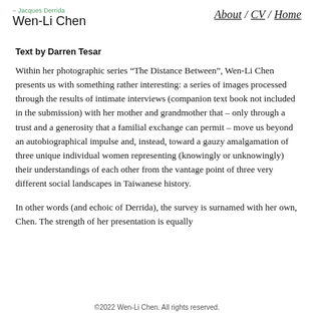– Jacques Derrida  Wen-Li Chen    About / CV / Home
Text by Darren Tesar
Within her photographic series “The Distance Between”, Wen-Li Chen presents us with something rather interesting: a series of images processed through the results of intimate interviews (companion text book not included in the submission) with her mother and grandmother that – only through a trust and a generosity that a familial exchange can permit – move us beyond an autobiographical impulse and, instead, toward a gauzy amalgamation of three unique individual women representing (knowingly or unknowingly) their understandings of each other from the vantage point of three very different social landscapes in Taiwanese history.
In other words (and echoic of Derrida), the survey is surnamed with her own, Chen. The strength of her presentation is equally
©2022 Wen-Li Chen. All rights reserved.